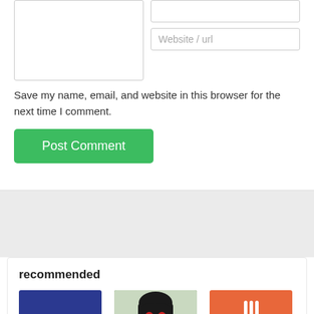[Figure (screenshot): Textarea input box (comment field) partially visible at top left]
[Figure (screenshot): Website/url text input field on right side]
Save my name, email, and website in this browser for the next time I comment.
[Figure (screenshot): Green 'Post Comment' button]
recommended
[Figure (logo): Blue square logo with white 'm.' text and heart symbol]
[Figure (photo): Anime girl with black hair and red eyes]
[Figure (illustration): Orange/red square with white fork icon]